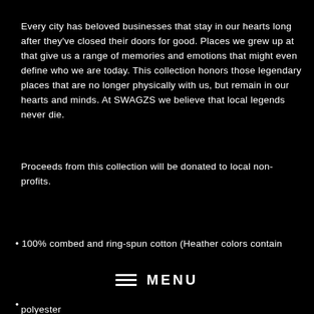Every city has beloved businesses that stay in our hearts long after they've closed their doors for good. Places we grew up at that give us a range of memories and emotions that might even define who we are today. This collection honors those legendary places that are no longer physically with us, but remain in our hearts and minds. At SWAGZS we believe that local legends never die.
Proceeds from this collection will be donated to local non-profits.
• 100% combed and ring-spun cotton (Heather colors contain
[Figure (other): Hamburger menu icon with three horizontal lines followed by the word MENU in bold white letters]
•
polyester